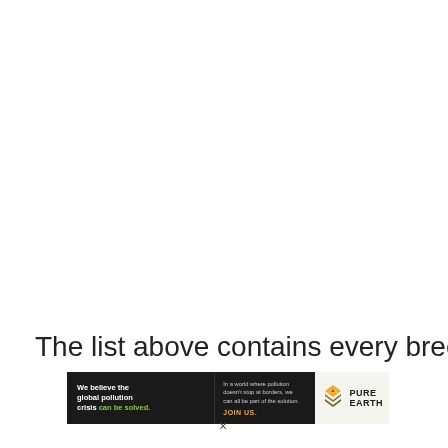The list above contains every breeder
[Figure (other): Pure Earth advertisement banner with black background on left side reading 'We believe the global pollution crisis can be solved.' in white and green text, middle section with small text 'In a world where pollution doesn't stop at borders, we can all be part of the solution.' and 'JOIN US.' in orange, and Pure Earth logo on right with layered chevron icon and 'PURE EARTH' text.]
×